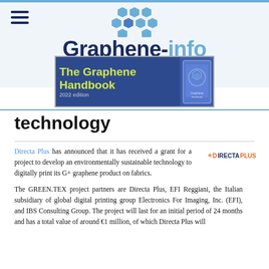Graphene-info — THE GRAPHENE EXPERTS
[Figure (logo): Graphene-info logo with blue honeycomb graphic above the text 'Graphene-info' and tagline 'THE GRAPHENE EXPERTS']
[Figure (illustration): Advertisement banner for 'The Graphene Handbook 2022 edition' with yellow title text on blue background and a book image on the right]
technology
Directa Plus has announced that it has received a grant for a project to develop an environmentally sustainable technology to digitally print its G+ graphene product on fabrics.
The GREEN.TEX project partners are Directa Plus, EFI Reggiani, the Italian subsidiary of global digital printing group Electronics For Imaging, Inc. (EFI), and IBS Consulting Group. The project will last for an initial period of 24 months and has a total value of around €1 million, of which Directa Plus will